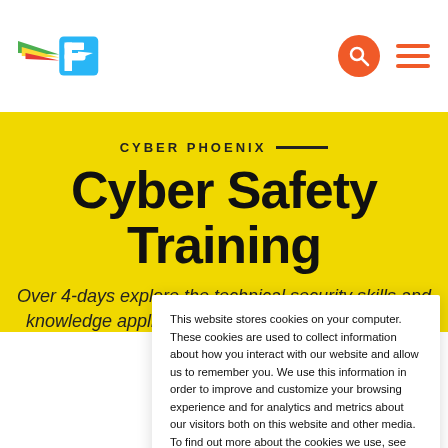Cyber Phoenix logo, search and menu icons
Cyber Safety Training
CYBER PHOENIX
Over 4-days explore the technical security skills and knowledge applied to firewalls, ant-virus software, IDS
This website stores cookies on your computer. These cookies are used to collect information about how you interact with our website and allow us to remember you. We use this information in order to improve and customize your browsing experience and for analytics and metrics about our visitors both on this website and other media. To find out more about the cookies we use, see our Privacy Policy.
Accept